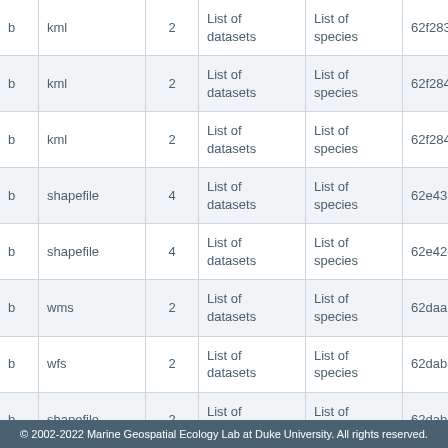|  | format | count | type | subtype | id |
| --- | --- | --- | --- | --- | --- |
| b | kml | 2 | List of datasets | List of species | 62f2833227 |
| b | kml | 2 | List of datasets | List of species | 62f28483f1 |
| b | kml | 2 | List of datasets | List of species | 62f28483f1 |
| b | shapefile | 4 | List of datasets | List of species | 62e431a512 |
| b | shapefile | 4 | List of datasets | List of species | 62e42c60a8 |
| b | wms | 2 | List of datasets | List of species | 62daa7b48 |
| b | wfs | 2 | List of datasets | List of species | 62dab8a4a |
| b | shapefile | 2 | List of datasets | List of species | 62dab8a4a |
| b | wms | 2 | List of datasets | List of species | 62dab8a4a |
| b |  |  | List of | List of |  |
© 2002-2022 Marine Geospatial Ecology Lab at Duke University. All rights reserved.